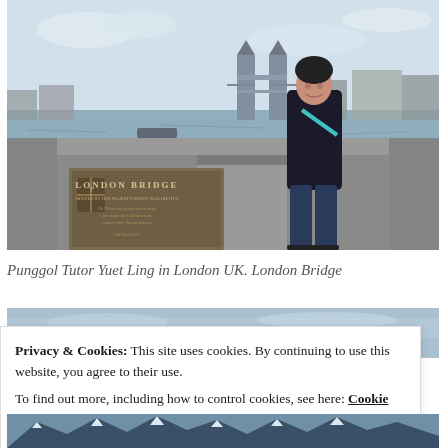[Figure (photo): A woman standing on London Bridge with Tower Bridge visible in the background. She is wearing a dark jacket and carrying a teal bag. A stone plaque reading 'LONDON BRIDGE' is visible in the foreground.]
Punggol Tutor Yuet Ling in London UK. London Bridge
[Figure (photo): Partial view of another photo showing a blue sky/water scene, partially obscured by cookie notice.]
Privacy & Cookies: This site uses cookies. By continuing to use this website, you agree to their use.
To find out more, including how to control cookies, see here: Cookie Policy
[Figure (photo): Partial view of snow-capped mountain peaks at the bottom of the page.]